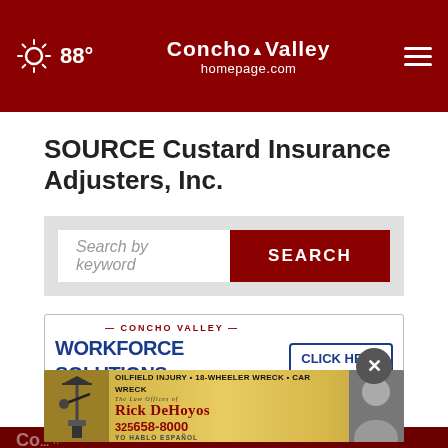88° Concho Valley homepage.com
SOURCE Custard Insurance Adjusters, Inc.
[Figure (screenshot): Search box with placeholder text 'Search by keyword' and a dark red SEARCH button]
[Figure (infographic): Concho Valley Workforce Solutions ad banner: 'A proud partner of the AmericanJobCenter network. 202 Henry O. Flipper Street • 325-653-2321' with CLICK HERE FOR INFO button]
[Figure (infographic): Rick DeHoyos law office ad: 'OILFIELD INJURY • 18-WHEELER WRECK • CAR WRECK. The Law Offices of Rick DeHoyos PLLC. 325-658-8000. YO HABLO ESPAÑOL']